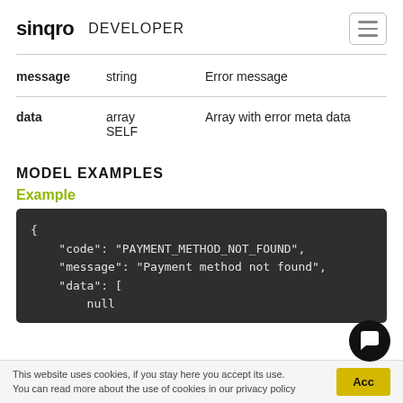sinqro DEVELOPER
| Field | Type | Description |
| --- | --- | --- |
| message | string | Error message |
| data | array SELF | Array with error meta data |
MODEL EXAMPLES
Example
{
    "code": "PAYMENT_METHOD_NOT_FOUND",
    "message": "Payment method not found",
    "data": [
        null